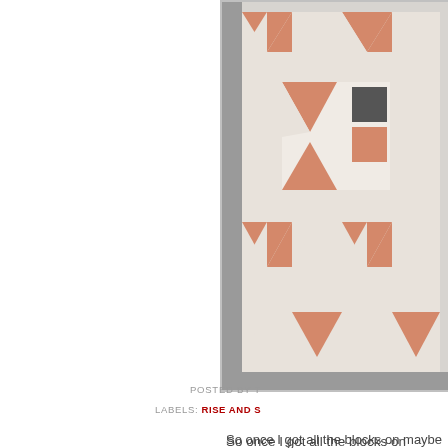[Figure (photo): Quilt with triangular and rectangular geometric blocks in salmon/orange and light gray colors, with a darker border. Only the right portion of the quilt is visible, cropped at left edge.]
So once I got all the blocks on maybe those corners would lo Rise and Shine-ish It is Lifetim approximately 1,004 pieces. T
[Figure (photo): Small partially visible image inside a red border frame]
POSTED BY T
LABELS: RISE AND S